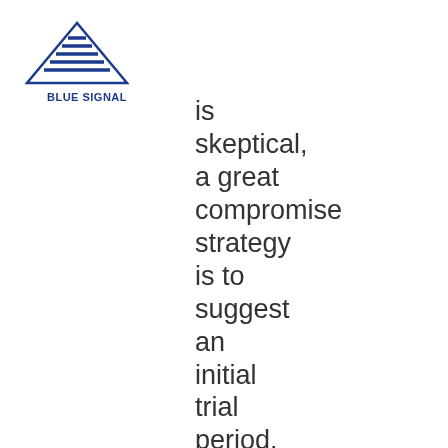[Figure (logo): Blue Signal company logo with triangle/mountain shape and horizontal lines, blue color, text 'BLUE SIGNAL' below]
is skeptical, a great compromise strategy is to suggest an initial trial period. This helps set both